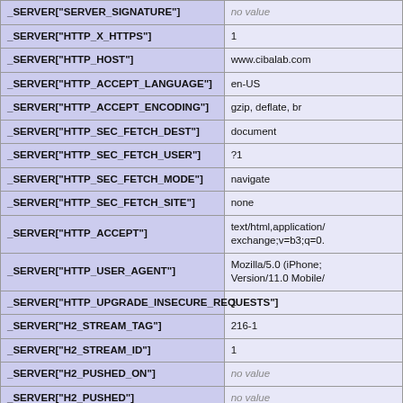| Key | Value |
| --- | --- |
| _SERVER["SERVER_SIGNATURE"] | no value |
| _SERVER["HTTP_X_HTTPS"] | 1 |
| _SERVER["HTTP_HOST"] | www.cibalab.com |
| _SERVER["HTTP_ACCEPT_LANGUAGE"] | en-US |
| _SERVER["HTTP_ACCEPT_ENCODING"] | gzip, deflate, br |
| _SERVER["HTTP_SEC_FETCH_DEST"] | document |
| _SERVER["HTTP_SEC_FETCH_USER"] | ?1 |
| _SERVER["HTTP_SEC_FETCH_MODE"] | navigate |
| _SERVER["HTTP_SEC_FETCH_SITE"] | none |
| _SERVER["HTTP_ACCEPT"] | text/html,application/
exchange;v=b3;q=0. |
| _SERVER["HTTP_USER_AGENT"] | Mozilla/5.0 (iPhone;
Version/11.0 Mobile/ |
| _SERVER["HTTP_UPGRADE_INSECURE_REQUESTS"] | 1 |
| _SERVER["H2_STREAM_TAG"] | 216-1 |
| _SERVER["H2_STREAM_ID"] | 1 |
| _SERVER["H2_PUSHED_ON"] | no value |
| _SERVER["H2_PUSHED"] | no value |
| _SERVER["H2_PUSH"] | on |
| _SERVER["H2PUSH"] | on |
| _SERVER["HTTP2"] | on |